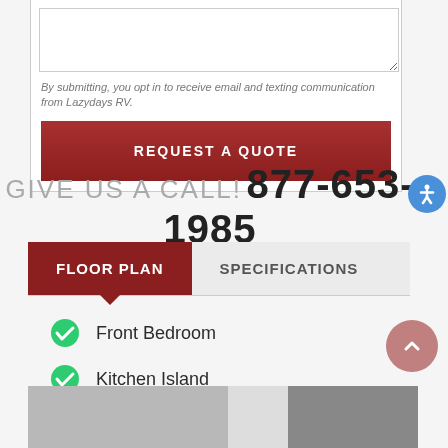By submitting, you opt in to receive email and texting communication from Lazydays RV.
REQUEST A QUOTE
GIVE US A CALL! 877-653-1985
FLOOR PLAN
SPECIFICATIONS
Front Bedroom
Kitchen Island
Rear Living Area